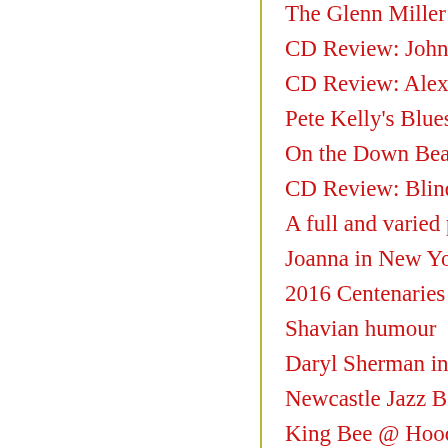The Glenn Miller O…
CD Review: John Ab…
CD Review: Alexis C…
Pete Kelly's Blues
On the Down Beat
CD Review: Blind M…
A full and varied pro…
Joanna in New York…
2016 Centenaries
Shavian humour
Daryl Sherman in Ul…
Newcastle Jazz Band…
King Bee @ Hoochi…
The Christmas Song…
Boys of Brass @ Ho…